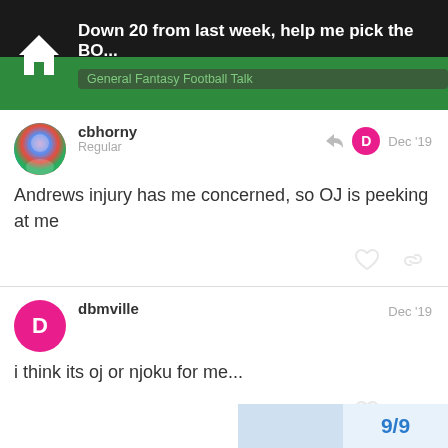Down 20 from last week, help me pick the BO... | General Fantasy Football Talk
cbhorny
Regular
Dec '19
Andrews injury has me concerned, so OJ is peeking at me
dbmville
Dec '19
i think its oj or njoku for me...
9/9